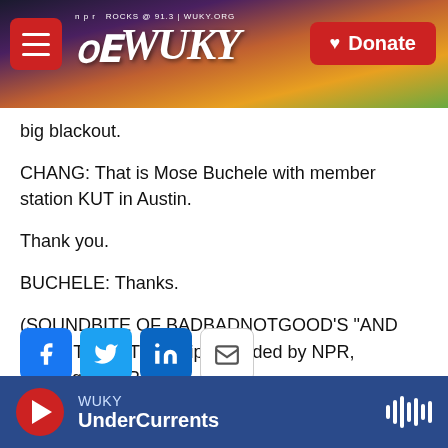[Figure (screenshot): WUKY NPR radio station website header banner with hamburger menu, WUKY logo, and red Donate button over a sunset/landscape background image]
big blackout.
CHANG: That is Mose Buchele with member station KUT in Austin.
Thank you.
BUCHELE: Thanks.
(SOUNDBITE OF BADBADNOTGOOD'S "AND THAT, TOO") Transcript provided by NPR, Copyright NPR.
[Figure (other): Social sharing buttons: Facebook, Twitter, LinkedIn, Email]
WUKY UnderCurrents — audio player footer with play button and waveform icon